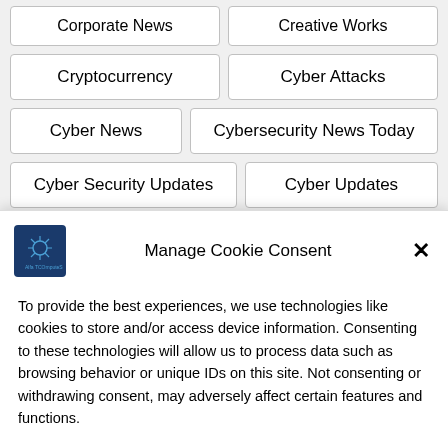Corporate News
Creative Works
Cryptocurrency
Cyber Attacks
Cyber News
Cybersecurity News Today
Cyber Security Updates
Cyber Updates
Energy
Environment
Finance
Manage Cookie Consent
To provide the best experiences, we use technologies like cookies to store and/or access device information. Consenting to these technologies will allow us to process data such as browsing behavior or unique IDs on this site. Not consenting or withdrawing consent, may adversely affect certain features and functions.
Accept